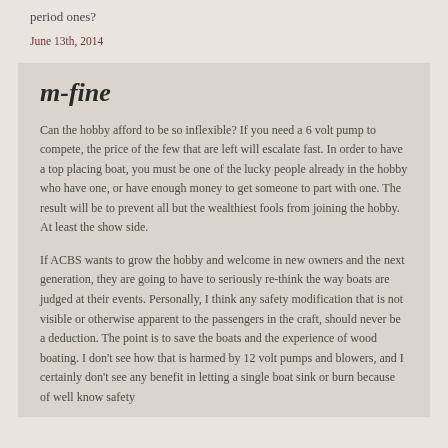period ones?
June 13th, 2014
m-fine
Can the hobby afford to be so inflexible? If you need a 6 volt pump to compete, the price of the few that are left will escalate fast. In order to have a top placing boat, you must be one of the lucky people already in the hobby who have one, or have enough money to get someone to part with one. The result will be to prevent all but the wealthiest fools from joining the hobby. At least the show side.
If ACBS wants to grow the hobby and welcome in new owners and the next generation, they are going to have to seriously re-think the way boats are judged at their events. Personally, I think any safety modification that is not visible or otherwise apparent to the passengers in the craft, should never be a deduction. The point is to save the boats and the experience of wood boating. I don't see how that is harmed by 12 volt pumps and blowers, and I certainly don't see any benefit in letting a single boat sink or burn because of well know safety